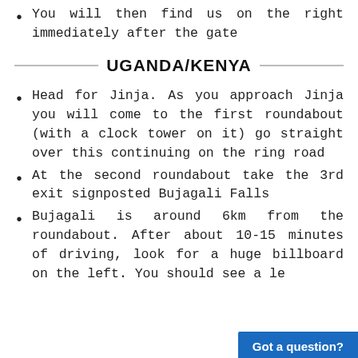You will then find us on the right immediately after the gate
UGANDA/KENYA
Head for Jinja. As you approach Jinja you will come to the first roundabout (with a clock tower on it) go straight over this continuing on the ring road
At the second roundabout take the 3rd exit signposted Bujagali Falls
Bujagali is around 6km from the roundabout. After about 10-15 minutes of driving, look for a huge billboard on the left. You should see a l[...] e
Got a question?